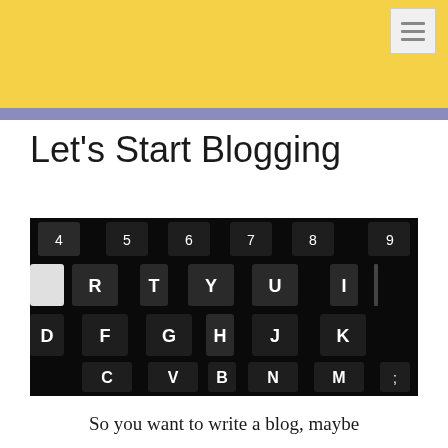Let's Start Blogging
[Figure (photo): Close-up photograph of a dark keyboard showing keys: 4, 5, 6, 7, 8, 9 on number row; R, T, Y, U, I on letter row; D, F, G, H, J, K on another row; C, V, B, N, M, semicolon on bottom row. Black and white/dark tones.]
So you want to write a blog, maybe